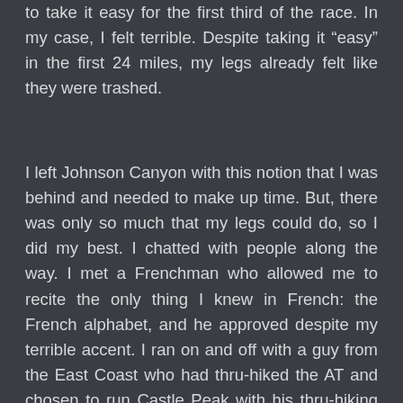to take it easy for the first third of the race. In my case, I felt terrible. Despite taking it “easy” in the first 24 miles, my legs already felt like they were trashed.
I left Johnson Canyon with this notion that I was behind and needed to make up time. But, there was only so much that my legs could do, so I did my best. I chatted with people along the way. I met a Frenchman who allowed me to recite the only thing I knew in French: the French alphabet, and he approved despite my terrible accent. I ran on and off with a guy from the East Coast who had thru-hiked the AT and chosen to run Castle Peak with his thru-hiking pals over celebrating his girlfriend’s birthday. Yep, this is my tribe. I asked people “How’s it going?” and when the response veered towards